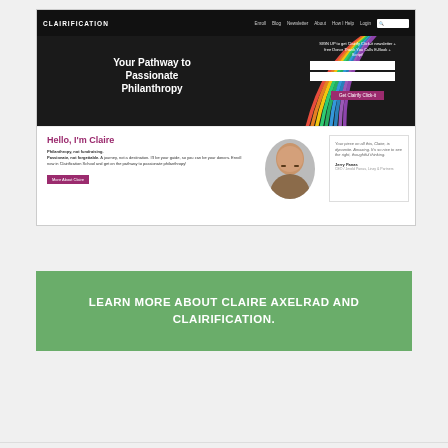[Figure (screenshot): Screenshot of the Clairification website homepage showing navigation bar, hero section with 'Your Pathway to Passionate Philanthropy' heading, rainbow colored lines graphic, email signup form, and 'Hello, I'm Claire' about section with photo and testimonial]
LEARN MORE ABOUT CLAIRE AXELRAD AND CLAIRIFICATION.